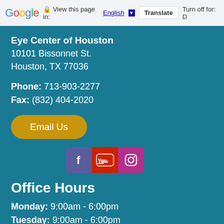Google  View this page in: English [▼]  Translate  Turn off for: D
Eye Center of Houston
10101 Bissonnet St.
Houston, TX 77036
Phone: 713-903-2277
Fax: (832) 404-2020
Email Us
[Figure (infographic): Social media icons: Facebook (purple), YouTube (red), Instagram (pink/purple)]
Office Hours
Monday: 9:00am - 6:00pm
Tuesday: 9:00am - 6:00pm
Wednesday: 9:00am - 6:00pm
Thursday: 9:00am - 6:00pm